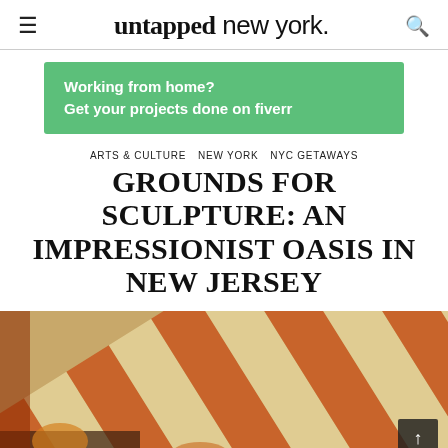untapped new york.
[Figure (screenshot): Fiverr advertisement banner: green background with white bold text reading 'Working from home? Get your projects done on fiverr']
ARTS & CULTURE   NEW YORK   NYC GETAWAYS
GROUNDS FOR SCULPTURE: AN IMPRESSIONIST OASIS IN NEW JERSEY
[Figure (photo): Photograph of diagonal orange and cream striped tent or awning fabric, with partial view of figures below wearing orange and yellow headwear]